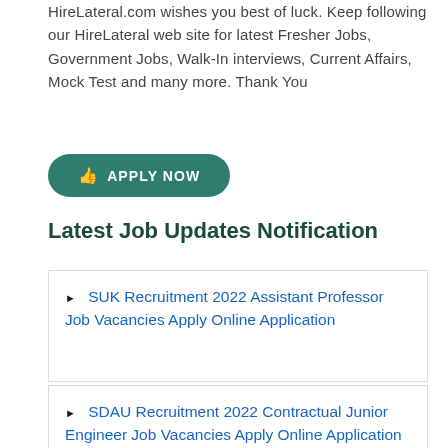HireLateral.com wishes you best of luck. Keep following our HireLateral web site for latest Fresher Jobs, Government Jobs, Walk-In interviews, Current Affairs, Mock Test and many more. Thank You
[Figure (other): Green rounded button labeled APPLY NOW with a hand pointer icon]
Latest Job Updates Notification
SUK Recruitment 2022 Assistant Professor Job Vacancies Apply Online Application
SDAU Recruitment 2022 Contractual Junior Engineer Job Vacancies Apply Online Application
Calicut University Recruitment 2022 Assistant